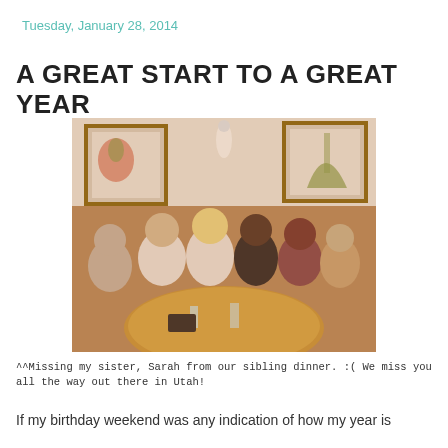Tuesday, January 28, 2014
A GREAT START TO A GREAT YEAR
[Figure (photo): Group of people sitting around a round wooden table at a restaurant booth, smiling at the camera. Framed artwork visible on the wall behind them.]
^^Missing my sister, Sarah from our sibling dinner. :(  We miss you all the way out there in Utah!
If my birthday weekend was any indication of how my year is